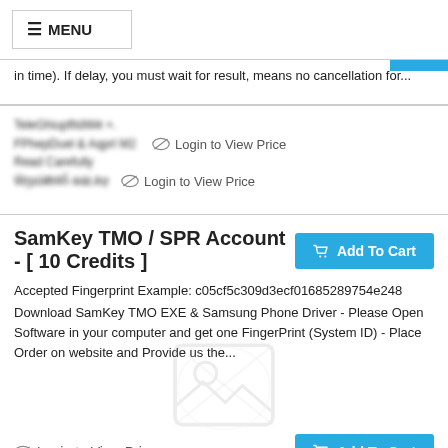≡ MENU
in time). If delay, you must wait for result, means no cancellation for...
[blurred product info lines] Login to View Price / Login to View Price
SamKey TMO / SPR Account - [ 10 Credits ]
Accepted Fingerprint Example: c05cf5c309d3ecf01685289754e248
Download SamKey TMO EXE & Samsung Phone Driver - Please Open Software in your computer and get one FingerPrint (System ID) - Place Order on website and Provide us the...
Login to View Price
[blurred bottom product info lines] Read Carefully